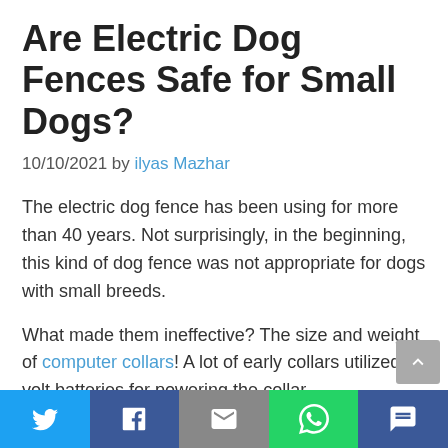Are Electric Dog Fences Safe for Small Dogs?
10/10/2021 by ilyas Mazhar
The electric dog fence has been using for more than 40 years. Not surprisingly, in the beginning, this kind of dog fence was not appropriate for dogs with small breeds.
What made them ineffective? The size and weight of computer collars! A lot of early collars utilized 9-volt batteries for powering the collar.
[Figure (infographic): Footer social sharing bar with Twitter, Facebook, Email, WhatsApp, and SMS buttons]